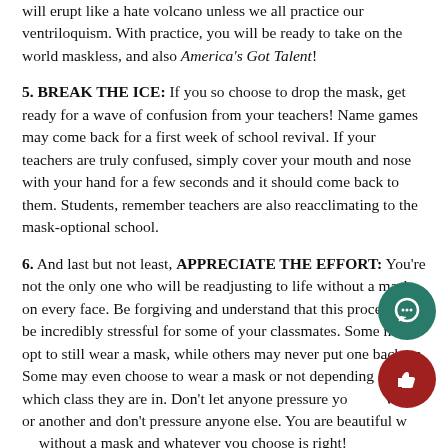will erupt like a hate volcano unless we all practice our ventriloquism. With practice, you will be ready to take on the world maskless, and also America's Got Talent!
5. BREAK THE ICE: If you so choose to drop the mask, get ready for a wave of confusion from your teachers! Name games may come back for a first week of school revival. If your teachers are truly confused, simply cover your mouth and nose with your hand for a few seconds and it should come back to them. Students, remember teachers are also reacclimating to the mask-optional school.
6. And last but not least, APPRECIATE THE EFFORT: You're not the only one who will be readjusting to life without a mask on every face. Be forgiving and understand that this process may be incredibly stressful for some of your classmates. Some may opt to still wear a mask, while others may never put one back on. Some may even choose to wear a mask or not depending on which class they are in. Don't let anyone pressure you one way or another and don't pressure anyone else. You are beautiful with or without a mask and whatever you choose is right!
The Shakerite looks forward to seeing your faces!